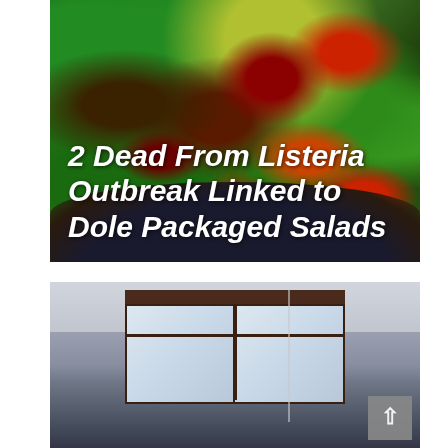[Figure (photo): Photo of a fresh salad bowl with green lettuce, red tomatoes, red onions, and other vegetables. White bold italic text overlaid reads: '2 Dead From Listeria Outbreak Linked to Dole Packaged Salads']
2 Dead From Listeria Outbreak Linked to Dole Packaged Salads
[Figure (photo): Photo of a person sitting in a room near a large window with dark blinds, blurred background showing what appears to be an office or waiting room interior.]